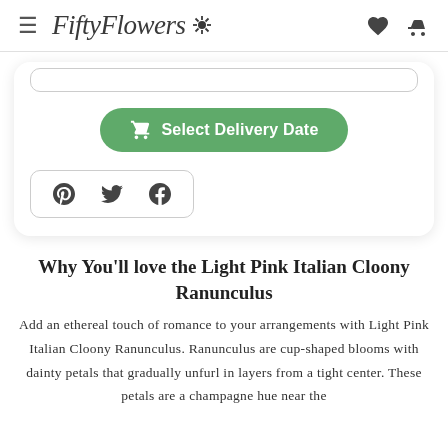FiftyFlowers
[Figure (screenshot): Green 'Select Delivery Date' button with shopping cart icon, and social sharing icons for Pinterest, Twitter, and Facebook inside a card with rounded corners]
Why You'll love the Light Pink Italian Cloony Ranunculus
Add an ethereal touch of romance to your arrangements with Light Pink Italian Cloony Ranunculus. Ranunculus are cup-shaped blooms with dainty petals that gradually unfurl in layers from a tight center. These petals are a champagne hue near the